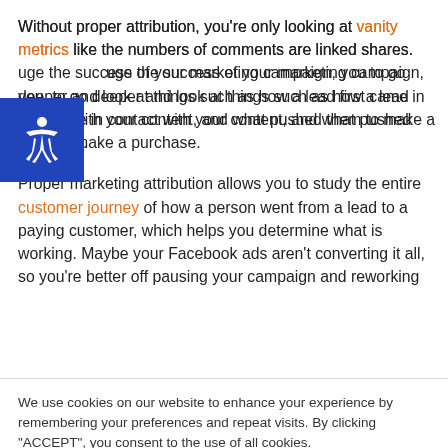Without proper attribution, you're only looking at vanity metrics like the numbers of comments are linked shares. [To] gauge the success of your marketing campaign, you [need] to go deeper and look at things such as how a lead first came in contact with your content, and what pushed them to make a purchase.
Proper marketing attribution allows you to study the entire customer journey of how a person went from a lead to a paying customer, which helps you determine what is working. Maybe your Facebook ads aren't converting it all, so you're better off pausing your campaign and reworking
We use cookies on our website to enhance your experience by remembering your preferences and repeat visits. By clicking "ACCEPT", you consent to the use of all cookies.